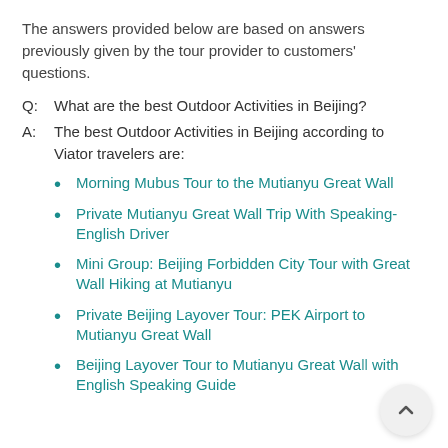The answers provided below are based on answers previously given by the tour provider to customers' questions.
Q:  What are the best Outdoor Activities in Beijing?
A:  The best Outdoor Activities in Beijing according to Viator travelers are:
Morning Mubus Tour to the Mutianyu Great Wall
Private Mutianyu Great Wall Trip With Speaking-English Driver
Mini Group: Beijing Forbidden City Tour with Great Wall Hiking at Mutianyu
Private Beijing Layover Tour: PEK Airport to Mutianyu Great Wall
Beijing Layover Tour to Mutianyu Great Wall with English Speaking Guide